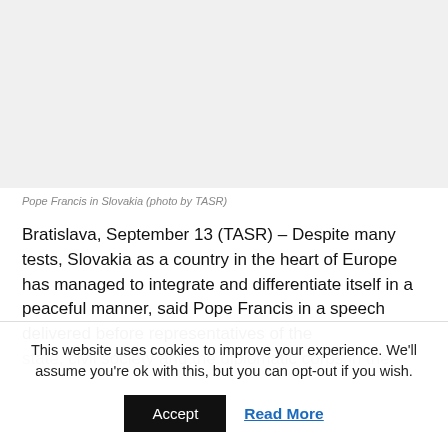[Figure (photo): Photo of Pope Francis in Slovakia - white/blank placeholder image]
Pope Francis in Slovakia (photo by TASR)
Bratislava, September 13 (TASR) – Despite many tests, Slovakia as a country in the heart of Europe has managed to integrate and differentiate itself in a peaceful manner, said Pope Francis in a speech delivered before representatives of the state, civil society and the diplomatic corps in the Presidential…
This website uses cookies to improve your experience. We'll assume you're ok with this, but you can opt-out if you wish.
Accept  Read More